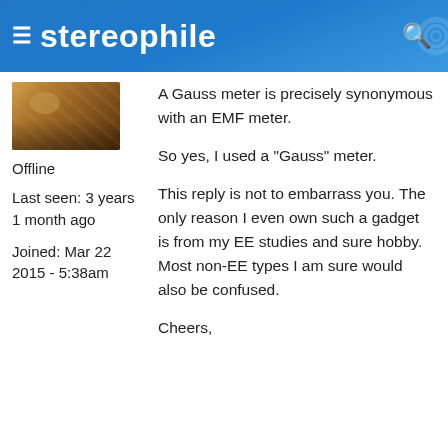stereophile
[Figure (photo): User avatar thumbnail showing a blurred face/person image in warm brown tones]
Offline
Last seen: 3 years 1 month ago
Joined: Mar 22 2015 - 5:38am
A Gauss meter is precisely synonymous with an EMF meter.
So yes, I used a "Gauss" meter.
This reply is not to embarrass you. The only reason I even own such a gadget is from my EE studies and sure hobby. Most non-EE types I am sure would also be confused.
Cheers,